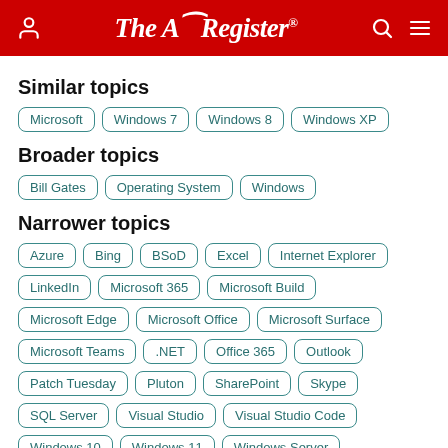The Register
Similar topics
Microsoft
Windows 7
Windows 8
Windows XP
Broader topics
Bill Gates
Operating System
Windows
Narrower topics
Azure
Bing
BSoD
Excel
Internet Explorer
LinkedIn
Microsoft 365
Microsoft Build
Microsoft Edge
Microsoft Office
Microsoft Surface
Microsoft Teams
.NET
Office 365
Outlook
Patch Tuesday
Pluton
SharePoint
Skype
SQL Server
Visual Studio
Visual Studio Code
Windows 10
Windows 11
Windows Server
Windows Server 2003